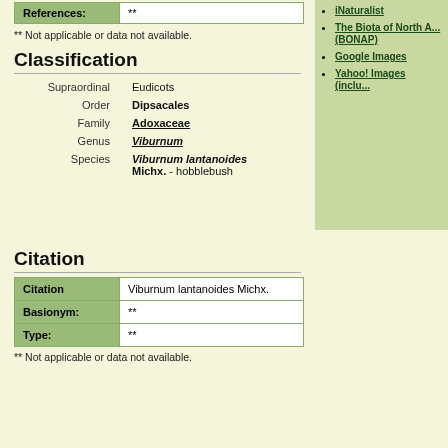| References: | ** |
| --- | --- |
** Not applicable or data not available.
Classification
| Supraordinal | Eudicots |
| Order | Dipsacales |
| Family | Adoxaceae |
| Genus | Viburnum |
| Species | Viburnum lantanoides Michx. - hobblebush |
Citation
| Citation | Viburnum lantanoides Michx. |
| Basionym: | ** |
| Type: | ** |
** Not applicable or data not available.
iNaturalist
The Biota of North A... (BONAP)
Google Images
Yahoo! Images (inclu...